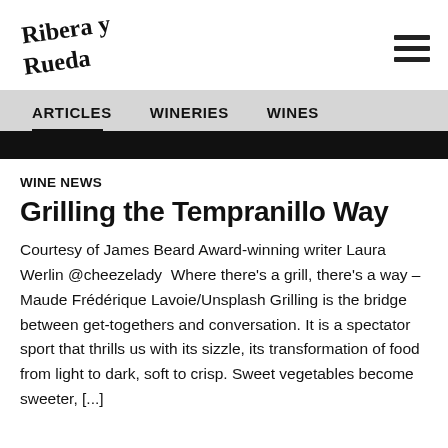[Figure (logo): Ribera y Rueda handwritten script logo]
ARTICLES   WINERIES   WINES
WINE NEWS
Grilling the Tempranillo Way
Courtesy of James Beard Award-winning writer Laura Werlin @cheezelady  Where there's a grill, there's a way – Maude Frédérique Lavoie/Unsplash Grilling is the bridge between get-togethers and conversation. It is a spectator sport that thrills us with its sizzle, its transformation of food from light to dark, soft to crisp. Sweet vegetables become sweeter, [...]